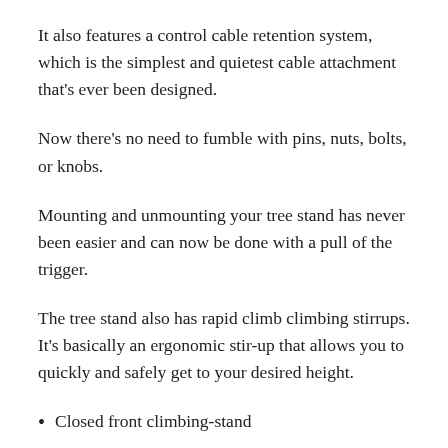It also features a control cable retention system, which is the simplest and quietest cable attachment that's ever been designed.
Now there's no need to fumble with pins, nuts, bolts, or knobs.
Mounting and unmounting your tree stand has never been easier and can now be done with a pull of the trigger.
The tree stand also has rapid climb climbing stirrups. It's basically an ergonomic stir-up that allows you to quickly and safely get to your desired height.
Closed front climbing-stand